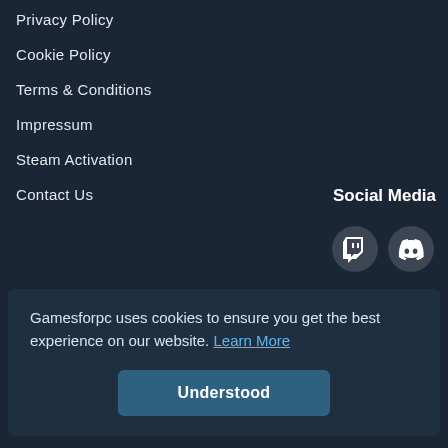Privacy Policy
Cookie Policy
Terms & Conditions
Impressum
Steam Activation
Contact Us
Social Media
[Figure (other): Twitch and Discord social media icons]
d.
Gamesforpc uses cookies to ensure you get the best experience on our website. Learn More
Understood